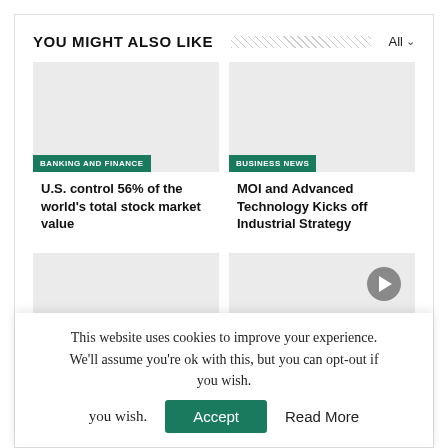YOU MIGHT ALSO LIKE
[Figure (photo): Placeholder image for article about banking and finance, with green tag 'BANKING AND FINANCE']
U.S. control 56% of the world's total stock market value
[Figure (photo): Placeholder image for article about business news, with green tag 'BUSINESS NEWS']
MOI and Advanced Technology Kicks off Industrial Strategy
[Figure (photo): Placeholder image for a fourth article card with video play button]
This website uses cookies to improve your experience. We'll assume you're ok with this, but you can opt-out if you wish. Accept Read More